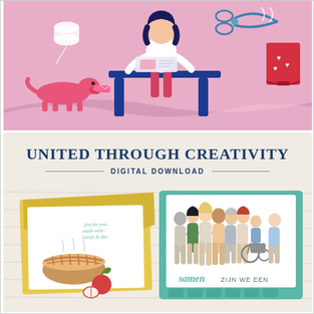[Figure (illustration): Pink background illustration showing a woman with dark hair sitting at a blue table crafting/scrapbooking. A pink dachshund dog on the left, a stack of papers/thread spool upper left, scissors and a red greeting card with hearts on the right.]
UNITED THROUGH CREATIVITY
DIGITAL DOWNLOAD
[Figure (photo): Photo of two greeting cards: left card has a yellow envelope with an illustrated pie and apple with cursive text 'just for you... made with... hands & thin...', right card has a teal/green frame showing illustrated group of diverse people standing arm-in-arm from behind (including a person in a wheelchair) with cursive text 'Samen zijn we een' (Together we are one).]